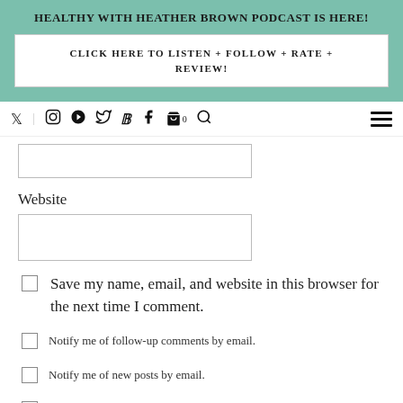HEALTHY WITH HEATHER BROWN PODCAST IS HERE!
CLICK HERE TO LISTEN + FOLLOW + RATE + REVIEW!
[Figure (screenshot): Navigation bar with social media icons: Twitter, Instagram, Pinterest, YouTube, TikTok, Facebook, cart, search, and hamburger menu]
Website
Save my name, email, and website in this browser for the next time I comment.
Notify me of follow-up comments by email.
Notify me of new posts by email.
Notify me of follow-up...